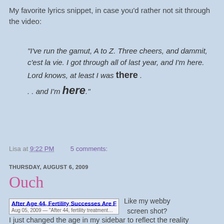My favorite lyrics snippet, in case you'd rather not sit through the video:
"I've run the gamut, A to Z. Three cheers, and dammit, c'est la vie. I got through all of last year, and I'm here. Lord knows, at least I was there . . . and I'm here."
Lisa at 9:22 PM    5 comments:
THURSDAY, AUGUST 6, 2009
Ouch
[Figure (screenshot): Screenshot of a webpage showing article title 'After Age 44, Fertility Successes Are Few' with browser toolbar icons]
Like my webby screen shot?
I just changed the age in my sidebar to reflect the reality ushered in 2 weeks ago today.